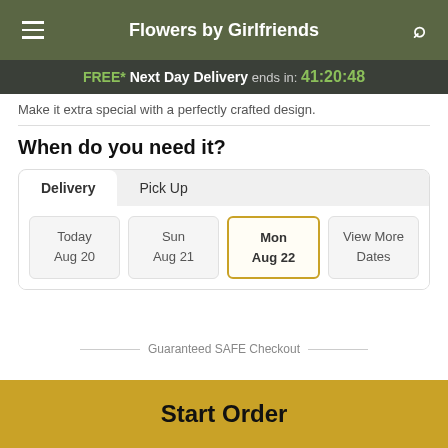Flowers by Girlfriends
FREE* Next Day Delivery ends in: 41:20:48
Make it extra special with a perfectly crafted design.
When do you need it?
Delivery | Pick Up
Today Aug 20 | Sun Aug 21 | Mon Aug 22 | View More Dates
Guaranteed SAFE Checkout
Start Order